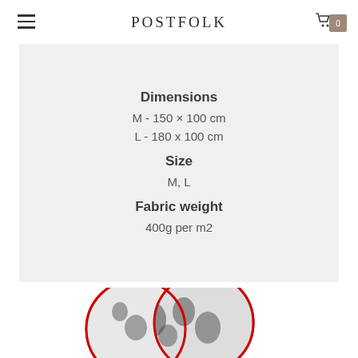POSTFOLK
Dimensions
M - 150 × 100 cm
L - 180 x 100 cm
Size
M, L
Fabric weight
400g per m2
[Figure (photo): Two overlapping circles with red outlines showing a textile fabric with black floral/botanical pattern on white background, demonstrating the fabric design.]